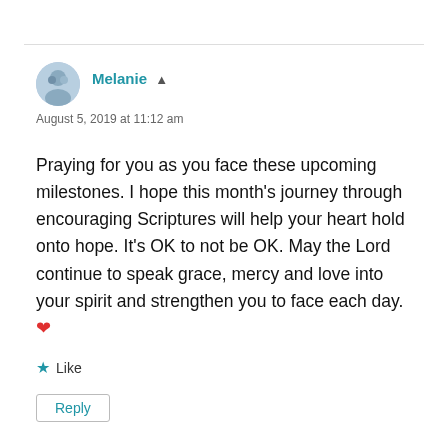[Figure (photo): Circular avatar photo of user Melanie]
Melanie ▲
August 5, 2019 at 11:12 am
Praying for you as you face these upcoming milestones. I hope this month's journey through encouraging Scriptures will help your heart hold onto hope. It's OK to not be OK. May the Lord continue to speak grace, mercy and love into your spirit and strengthen you to face each day. ❤
★ Like
Reply